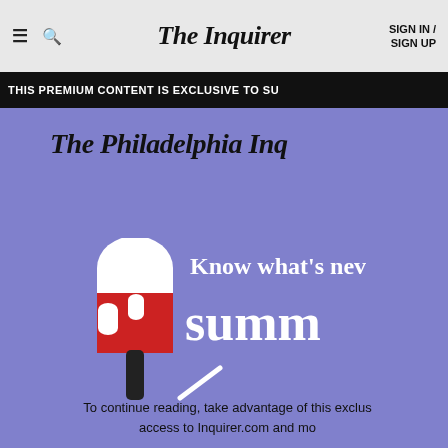The Inquirer | SIGN IN / SIGN UP
THIS PREMIUM CONTENT IS EXCLUSIVE TO SU
[Figure (illustration): The Philadelphia Inquirer masthead logo in blackletter/Old English font on a periwinkle blue background, along with a popsicle illustration (white top, red bottom with white drips, black stick) and the text 'Know what’s new' and 'summ' in bold white serif font, plus a diagonal slash graphic]
To continue reading, take advantage of this exclusive access to Inquirer.com and mo